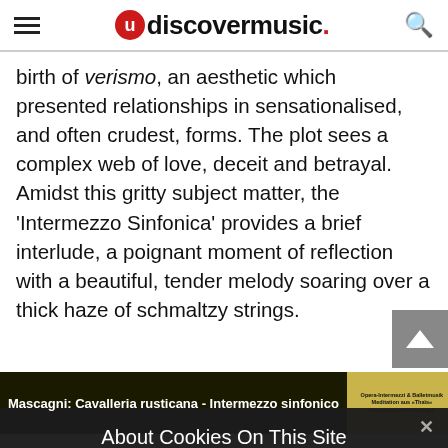udiscovermusic.
birth of verismo, an aesthetic which presented relationships in sensationalised, and often crudest, forms. The plot sees a complex web of love, deceit and betrayal. Amidst this gritty subject matter, the 'Intermezzo Sinfonica' provides a brief interlude, a poignant moment of reflection with a beautiful, tender melody soaring over a thick haze of schmaltzy strings.
[Figure (screenshot): Media player banner showing 'Mascagni: Cavalleria rusticana - Intermezzo sinfonico' with album artwork thumbnail]
About Cookies On This Site
I Understand
Cookie Choices